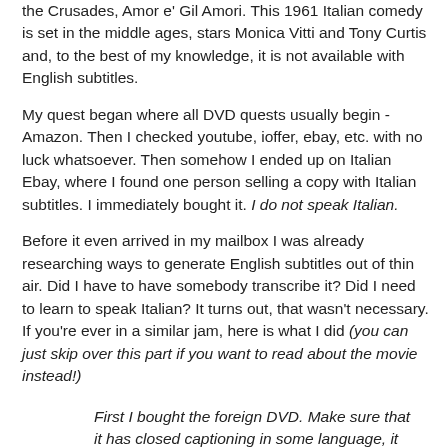the Crusades, Amor e' Gil Amori. This 1961 Italian comedy is set in the middle ages, stars Monica Vitti and Tony Curtis and, to the best of my knowledge, it is not available with English subtitles.
My quest began where all DVD quests usually begin - Amazon. Then I checked youtube, ioffer, ebay, etc. with no luck whatsoever. Then somehow I ended up on Italian Ebay, where I found one person selling a copy with Italian subtitles. I immediately bought it. I do not speak Italian.
Before it even arrived in my mailbox I was already researching ways to generate English subtitles out of thin air. Did I have to have somebody transcribe it? Did I need to learn to speak Italian? It turns out, that wasn't necessary. If you're ever in a similar jam, here is what I did (you can just skip over this part if you want to read about the movie instead!)
First I bought the foreign DVD. Make sure that it has closed captioning in some language, it doesn't have to be your own language. Mine